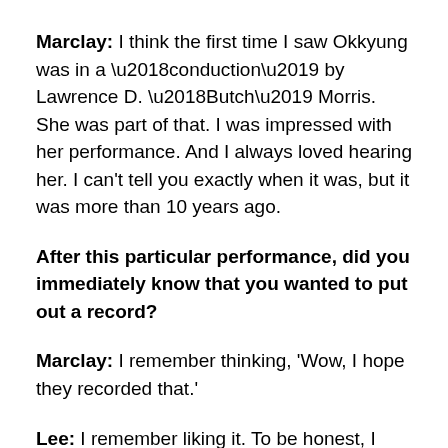Marclay: I think the first time I saw Okkyung was in a ‘conduction’ by Lawrence D. ‘Butch’ Morris. She was part of that. I was impressed with her performance. And I always loved hearing her. I can’t tell you exactly when it was, but it was more than 10 years ago.
After this particular performance, did you immediately know that you wanted to put out a record?
Marclay: I remember thinking, ‘Wow, I hope they recorded that.’
Lee: I remember liking it. To be honest, I didn’t listen to it until a year later. I’m not really a big fan of